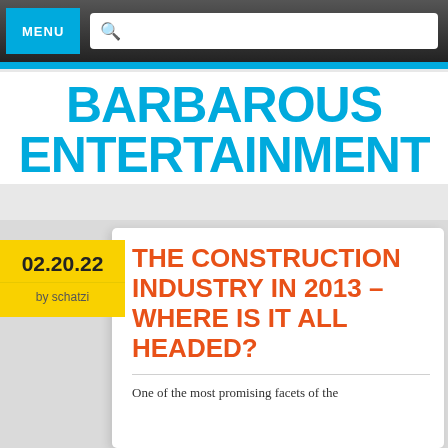MENU
BARBAROUS ENTERTAINMENT
02.20.22 by schatzi
THE CONSTRUCTION INDUSTRY IN 2013 – WHERE IS IT ALL HEADED?
One of the most promising facets of the